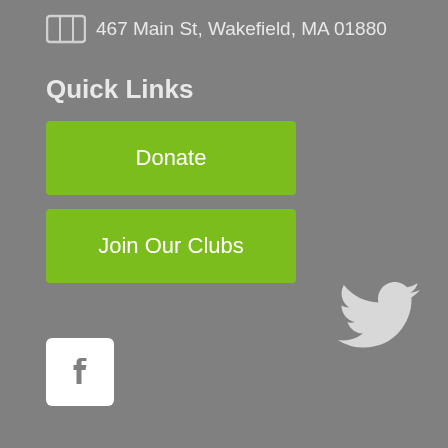467 Main St, Wakefield, MA 01880
Quick Links
Donate
Join Our Clubs
[Figure (logo): Twitter bird icon (white) on gray background]
[Figure (logo): Facebook icon (white f on white square) on gray background]